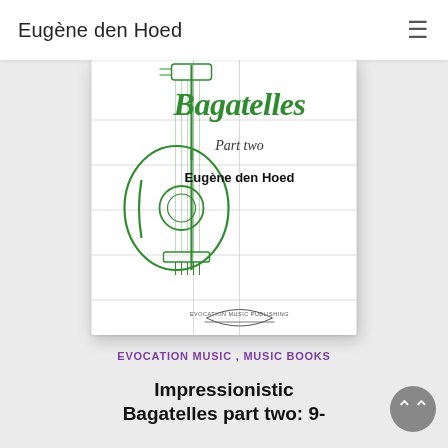Eugène den Hoed
[Figure (illustration): Book cover of 'Impressionistic Bagatelles Part two' by Eugène den Hoed, published by Evocation Music Publishing. Cover shows green calligraphic title 'Bagatelles' at top, 'Part two' in italic below, author name 'Eugène den Hoed' in bold, with a green line drawing of a guitar on white background with grid lines.]
EVOCATION MUSIC , MUSIC BOOKS
Impressionistic Bagatelles part two: 9-